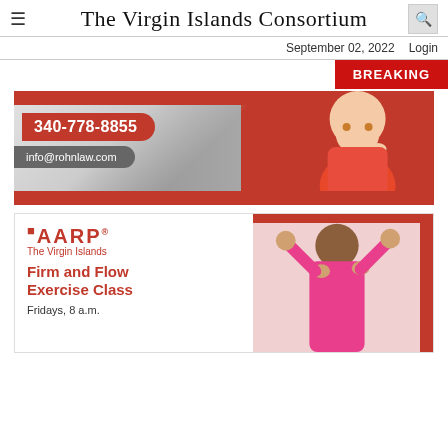The Virgin Islands Consortium
September 02, 2022   Login
BREAKING
[Figure (photo): Rohn Law advertisement showing phone number 340-778-8855 and email info@rohnlaw.com with a woman in a red top]
[Figure (photo): AARP The Virgin Islands advertisement for Firm and Flow Exercise Class, Fridays 8 a.m., showing a woman in pink exercising]